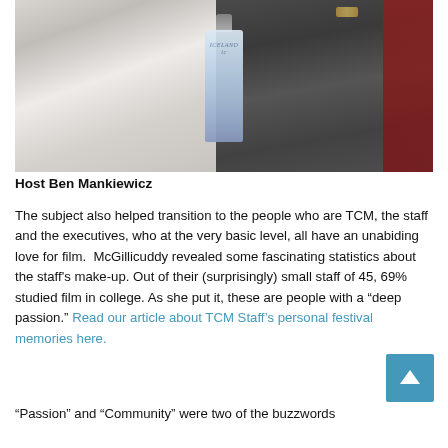[Figure (photo): Two people posing together, one holding an Icelandic water bottle. Person on left in white shirt and gray suit, person on right in dark jacket.]
Host Ben Mankiewicz
The subject also helped transition to the people who are TCM, the staff and the executives, who at the very basic level, all have an unabiding love for film.  McGillicuddy revealed some fascinating statistics about the staff's make-up. Out of their (surprisingly) small staff of 45, 69% studied film in college. As she put it, these are people with a “deep passion.” Read our article about TCM Staff’s personal festival memories here.
“Passion” and “Community” were two of the buzzwords